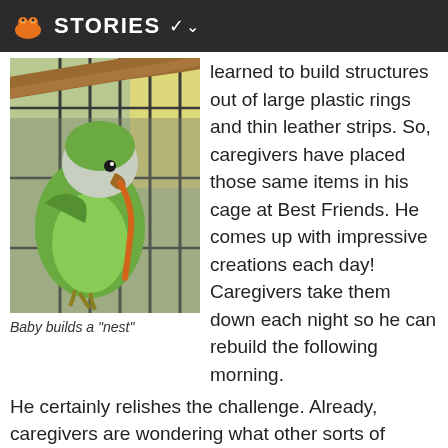STORIES
[Figure (photo): A green and grey parrot (monk parakeet/quaker parrot) inside a cage, holding an orange leather strip in its beak. A wooden perch is visible in the background along with cage bars.]
Baby builds a "nest"
learned to build structures out of large plastic rings and thin leather strips. So, caregivers have placed those same items in his cage at Best Friends. He comes up with impressive creations each day! Caregivers take them down each night so he can rebuild the following morning. He certainly relishes the challenge. Already, caregivers are wondering what other sorts of supplies he might enjoy